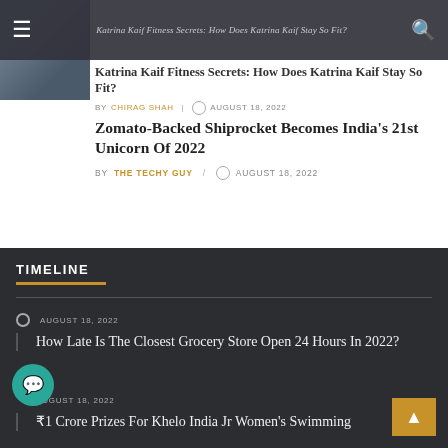Katrina Kaif Fitness Secrets: How Does Katrina Kaif Stay So Fit?
BY CHIRAG SHAH | AUGUST 18, 2022
Zomato-Backed Shiprocket Becomes India's 21st Unicorn Of 2022
BY THE TECHY GUY | AUGUST 18, 2022
TIMELINE
AUGUST 18, 2022
How Late Is The Closest Grocery Store Open 24 Hours In 2022?
AUGUST 18, 2022
₹1 Crore Prizes For Khelo India Jr Women's Swimming Challenge Series